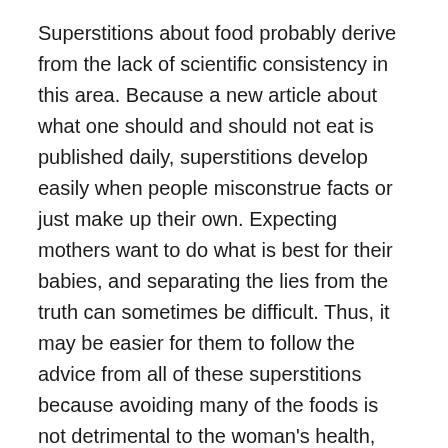Superstitions about food probably derive from the lack of scientific consistency in this area. Because a new article about what one should and should not eat is published daily, superstitions develop easily when people misconstrue facts or just make up their own. Expecting mothers want to do what is best for their babies, and separating the lies from the truth can sometimes be difficult. Thus, it may be easier for them to follow the advice from all of these superstitions because avoiding many of the foods is not detrimental to the woman's health, and doing so could only help if the superstition were to be true.
Other superstitions about nutrition deal with the mother and baby's weight. Time, Dr. Phil, and CBSNews all report that many women believe that they must eat for two people while they are pregnant (Luscombe, “Myths”, CBSNews). Scientific American discusses how some people think